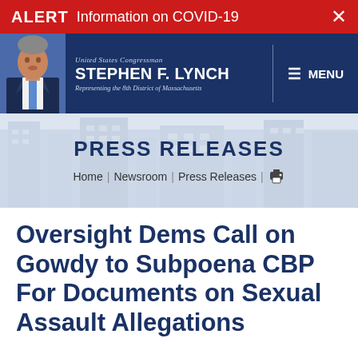ALERT  Information on COVID-19  X
[Figure (screenshot): Website header for US Congressman Stephen F. Lynch, Representing the 8th District of Massachusetts, with photo of congressman and MENU navigation]
PRESS RELEASES
Home | Newsroom | Press Releases |
Oversight Dems Call on Gowdy to Subpoena CBP For Documents on Sexual Assault Allegations